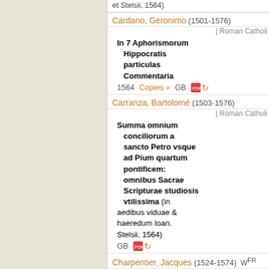et Stelsii, 1564)
Cardano, Geronimo (1501-1576)
| Roman Catholic
In 7 Aphorismorum Hippocratis particulas Commentaria
1564   Copies »   GB
Carranza, Bartolomé (1503-1576)
| Roman Catholic
Summa omnium conciliorum a sancto Petro vsque ad Pium quartum pontificem: omnibus Sacrae Scripturae studiosis vtilissima (in aedibus viduae & haeredum Ioan. Stelsii, 1564)
Charpentier, Jacques (1524-1574)  W^FR
| Roman Catholic
Ad expositionem disputationis de methodo, contra Thessalum